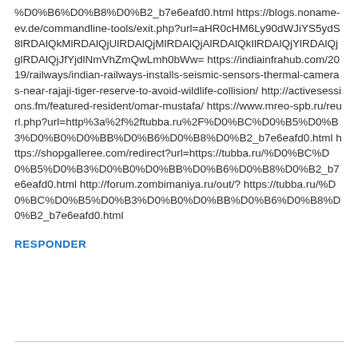%D0%B6%D0%B8%D0%B2_b7e6eafd0.html https://blogs.noname-ev.de/commandline-tools/exit.php?url=aHR0cHM6Ly90dWJiYS5ydS8lRDAlQkMlRDAlQjUlRDAlQjMlRDAlQjAlRDAlQkIlRDAlQjYlRDAlQjglRDAlQjJfYjdlNmVhZmQwLmh0bWw= https://indiainfrahub.com/2019/railways/indian-railways-installs-seismic-sensors-thermal-cameras-near-rajaji-tiger-reserve-to-avoid-wildlife-collision/ http://activesessions.fm/featured-resident/omar-mustafa/ https://www.mreo-spb.ru/reurl.php?url=http%3a%2f%2ftubba.ru%2F%D0%BC%D0%B5%D0%B3%D0%B0%D0%BB%D0%B6%D0%B8%D0%B2_b7e6eafd0.html https://shopgalleree.com/redirect?url=https://tubba.ru/%D0%BC%D0%B5%D0%B3%D0%B0%D0%BB%D0%B6%D0%B8%D0%B2_b7e6eafd0.html http://forum.zombimaniya.ru/out/? https://tubba.ru/%D0%BC%D0%B5%D0%B3%D0%B0%D0%BB%D0%B6%D0%B8%D0%B2_b7e6eafd0.html
RESPONDER